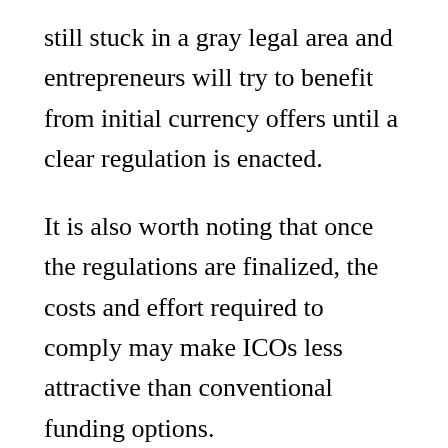still stuck in a gray legal area and entrepreneurs will try to benefit from initial currency offers until a clear regulation is enacted.
It is also worth noting that once the regulations are finalized, the costs and effort required to comply may make ICOs less attractive than conventional funding options.
Last word